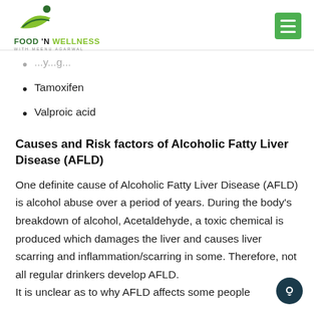FOOD 'N WELLNESS WITH MEENU AGARWAL
Tamoxifen
Valproic acid
Causes and Risk factors of Alcoholic Fatty Liver Disease (AFLD)
One definite cause of Alcoholic Fatty Liver Disease (AFLD) is alcohol abuse over a period of years. During the body's breakdown of alcohol, Acetaldehyde, a toxic chemical is produced which damages the liver and causes liver scarring and inflammation/scarring in some. Therefore, not all regular drinkers develop AFLD. It is unclear as to why AFLD affects some people